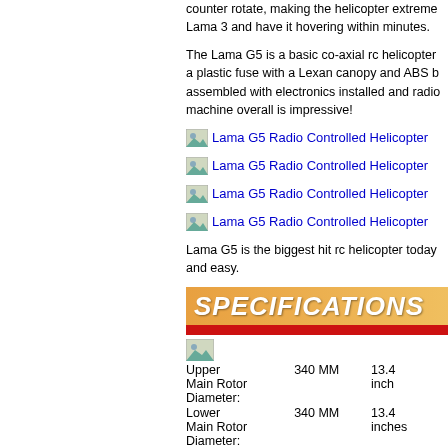counter rotate, making the helicopter extreme... Lama 3 and have it hovering within minutes.
The Lama G5 is a basic co-axial rc helicopter... a plastic fuse with a Lexan canopy and ABS b... assembled with electronics installed and radio... machine overall is impressive!
[Figure (photo): Lama G5 Radio Controlled Helicopter image link 1]
[Figure (photo): Lama G5 Radio Controlled Helicopter image link 2]
[Figure (photo): Lama G5 Radio Controlled Helicopter image link 3]
[Figure (photo): Lama G5 Radio Controlled Helicopter image link 4]
Lama G5 is the biggest hit rc helicopter today... and easy.
SPECIFICATIONS
| Spec | MM | Inch |
| --- | --- | --- |
| Upper Main Rotor Diameter: | 340 MM | 13.4 inch |
| Lower Main Rotor Diameter: | 340 MM | 13.4 inches |
| Overall Length: | 425 MM | 16.7 inch |
| Overall Height: | 175 MM | 6.9 inch |
| All-up Weight: | 235g | 8.3 |